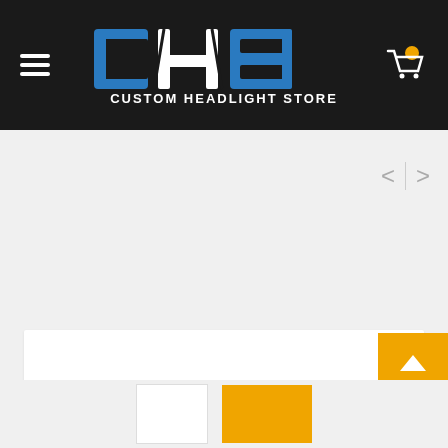[Figure (logo): CHS Custom Headlight Store logo on dark background with hamburger menu and cart icon]
[Figure (screenshot): Product listing page with navigation arrows, product card with wishlist and refresh icons, scroll-to-top button, and thumbnail strip at bottom]